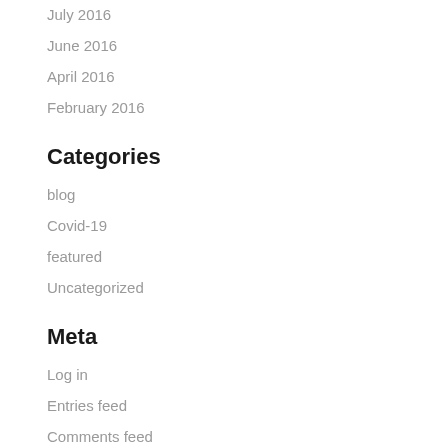July 2016
June 2016
April 2016
February 2016
Categories
blog
Covid-19
featured
Uncategorized
Meta
Log in
Entries feed
Comments feed